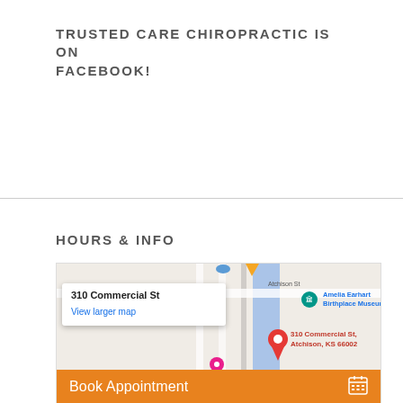TRUSTED CARE CHIROPRACTIC IS ON FACEBOOK!
HOURS & INFO
[Figure (map): Google Maps screenshot showing 310 Commercial St, Atchison, KS 66002 with a red location pin. Amelia Earhart Birthplace Museum label visible. Street labels include Atchison St and Utah St. Map popup shows '310 Commercial St' and 'View larger map' link.]
Book Appointment